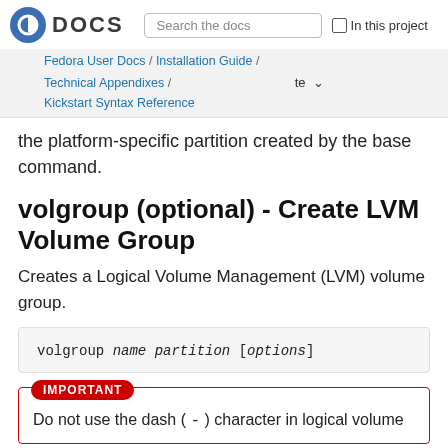Fedora DOCS | Search the docs | In this project
Fedora User Docs / Installation Guide / Technical Appendixes / Kickstart Syntax Reference
the platform-specific partition created by the base command.
volgroup (optional) - Create LVM Volume Group
Creates a Logical Volume Management (LVM) volume group.
volgroup name partition [options]
IMPORTANT
Do not use the dash ( - ) character in logical volume